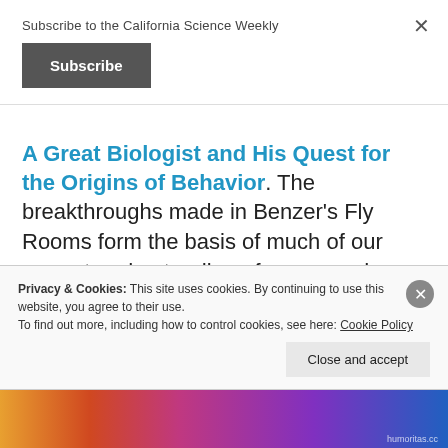Subscribe to the California Science Weekly
Subscribe
×
A Great Biologist and His Quest for the Origins of Behavior. The breakthroughs made in Benzer's Fly Rooms form the basis of much of our current understanding of genes and behavior.
The essay goes on to describe the great work that continues at CalTech with researchers like Elizabeth
Privacy & Cookies: This site uses cookies. By continuing to use this website, you agree to their use.
To find out more, including how to control cookies, see here: Cookie Policy
Close and accept